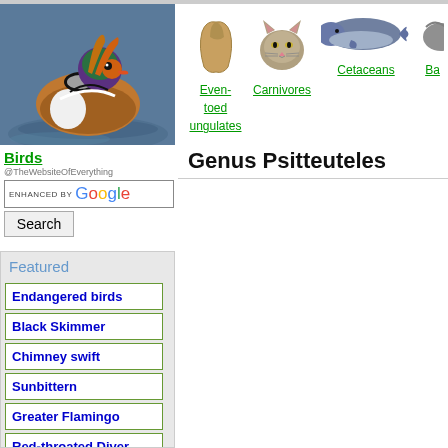[Figure (photo): Mandarin duck swimming on water, colorful plumage]
Birds
@TheWebsiteOfEverything
ENHANCED BY Google Search
Featured
Endangered birds
Black Skimmer
Chimney swift
Sunbittern
Greater Flamingo
Red-throated Diver
African grey parrot
Tundra swan
[Figure (illustration): Navigation icons: Even-toed ungulates (hoof), Carnivores (wildcat), Cetaceans (whale), and partial fourth animal]
Genus Psitteuteles